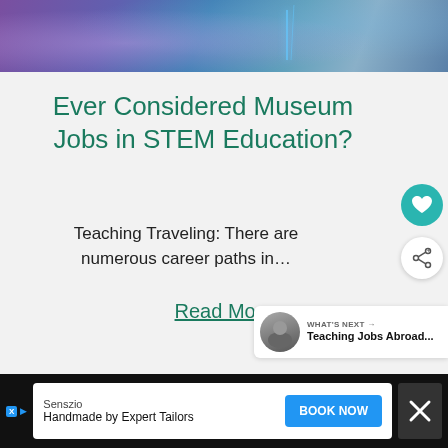[Figure (photo): Header photo strip showing museum/STEM education scene with purple and blue lighting]
Ever Considered Museum Jobs in STEM Education?
Teaching Traveling: There are numerous career paths in…
Read More
[Figure (infographic): What's Next panel with avatar thumbnail linking to Teaching Jobs Abroad...]
[Figure (infographic): Advertisement bar: Senszio - Handmade by Expert Tailors - BOOK NOW button]